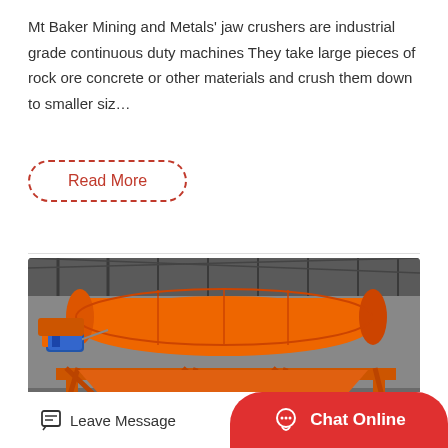Mt Baker Mining and Metals' jaw crushers are industrial grade continuous duty machines They take large pieces of rock ore concrete or other materials and crush them down to smaller siz…
Read More
[Figure (photo): Industrial orange trommel screen / drum separator machine sitting on a steel frame structure inside a warehouse/factory with metal roof trusses visible in background. Blue electric motor attached on left side.]
Leave Message
Chat Online